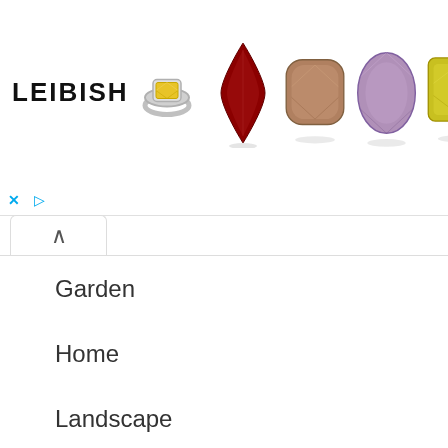[Figure (screenshot): Leibish jewelry advertisement banner showing the Leibish logo text with a gold diamond ring, and several colored gemstones (ruby marquise, brown cushion, purple oval, yellow radiant) arranged in a row on white background]
Garden
Home
Landscape
Tools
Uncategorized